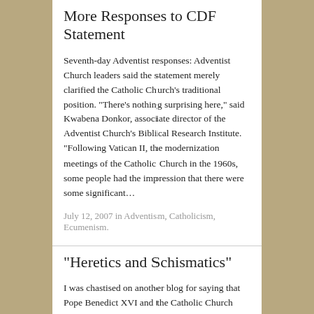More Responses to CDF Statement
Seventh-day Adventist responses: Adventist Church leaders said the statement merely clarified the Catholic Church’s traditional position. “There’s nothing surprising here,” said Kwabena Donkor, associate director of the Adventist Church’s Biblical Research Institute. “Following Vatican II, the modernization meetings of the Catholic Church in the 1960s, some people had the impression that there were some significant…
July 12, 2007 in Adventism, Catholicism, Ecumenism.
“Heretics and Schismatics”
I was chastised on another blog for saying that Pope Benedict XVI and the Catholic Church view Protestants as “heretics and schismatics” in my post